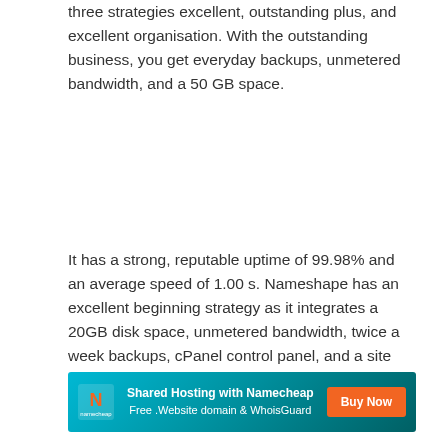three strategies excellent, outstanding plus, and excellent organisation. With the outstanding business, you get everyday backups, unmetered bandwidth, and a 50 GB space.
It has a strong, reputable uptime of 99.98% and an average speed of 1.00 s. Nameshape has an excellent beginning strategy as it integrates a 20GB disk space, unmetered bandwidth, twice a week backups, cPanel control panel, and a site home builder.
[Figure (other): Namecheap advertisement banner: Shared Hosting with Namecheap, Free .Website domain & WhoisGuard, Buy Now button]